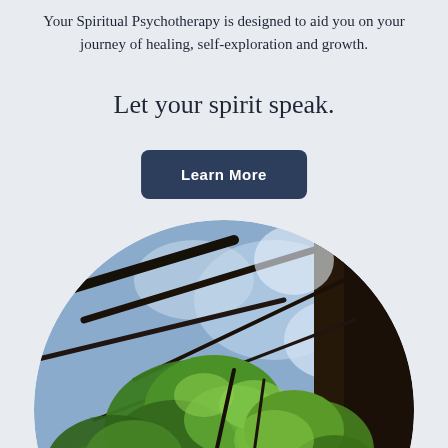Your Spiritual Psychotherapy is designed to aid you on your journey of healing, self-exploration and growth.
Let your spirit speak.
Learn More
[Figure (photo): Circular photo taken from below looking up through green oak leaves and tree branches toward a bright sky, with a dark tree trunk visible on the right side.]